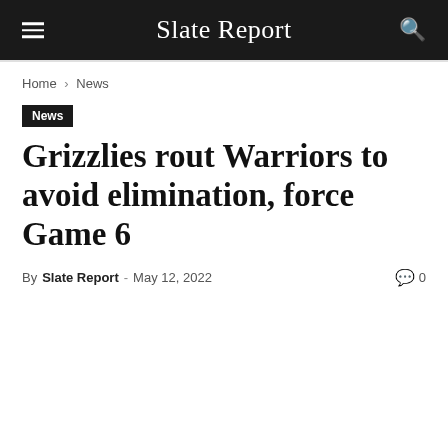Slate Report
Home › News
News
Grizzlies rout Warriors to avoid elimination, force Game 6
By Slate Report - May 12, 2022   0